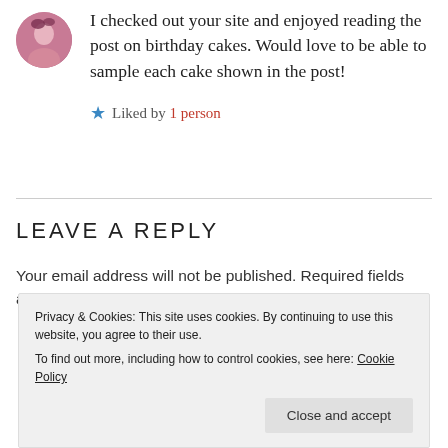I checked out your site and enjoyed reading the post on birthday cakes. Would love to be able to sample each cake shown in the post!
Liked by 1 person
LEAVE A REPLY
Your email address will not be published. Required fields are marked *
Privacy & Cookies: This site uses cookies. By continuing to use this website, you agree to their use. To find out more, including how to control cookies, see here: Cookie Policy